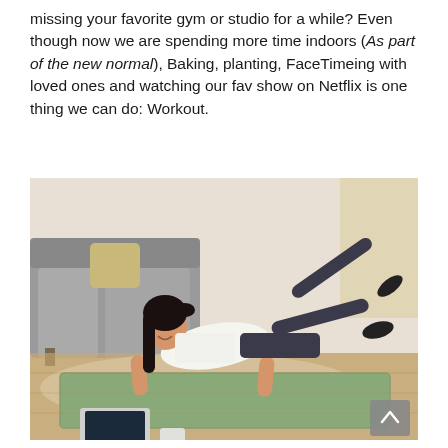missing your favorite gym or studio for a while? Even though now we are spending more time indoors (As part of the new normal), Baking, planting, FaceTimeing with loved ones and watching our fav show on Netflix is one thing we can do: Workout.
[Figure (photo): A woman doing a plank exercise on a teal yoga mat in a living room, smiling and looking at a laptop on the floor in front of her. She is wearing a white tank top and dark leggings. A grey couch and white rug are visible in the background. A scroll-to-top button appears in the bottom right corner.]